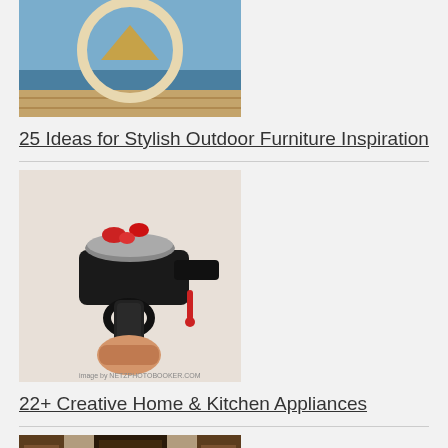[Figure (photo): Outdoor furniture with heart/ring shaped decorative piece on a dock or beach setting]
25 Ideas for Stylish Outdoor Furniture Inspiration
[Figure (photo): A meat grinder designed to look like a gun being held by a hand, with red peppers on top]
22+ Creative Home & Kitchen Appliances
[Figure (photo): Law office interior with dark wood bookshelves, curtains, and a desk with warm lighting]
6 Law Office Decor Ideas to Reflect Style